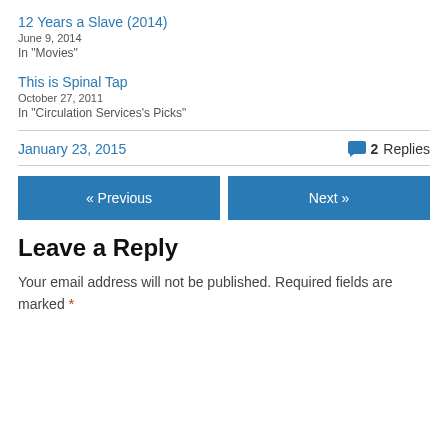12 Years a Slave (2014)
June 9, 2014
In "Movies"
This is Spinal Tap
October 27, 2011
In "Circulation Services's Picks"
January 23, 2015    💬 2 Replies
« Previous    Next »
Leave a Reply
Your email address will not be published. Required fields are marked *